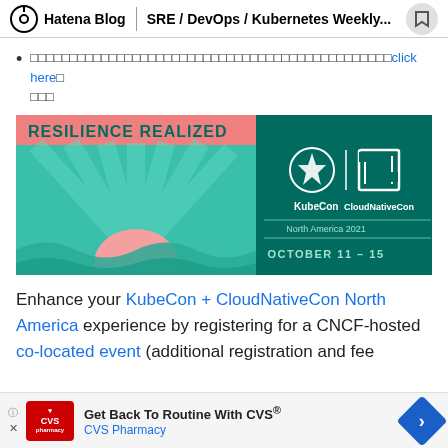Hatena Blog | SRE / DevOps / Kubernetes Weekly...
（Japanese text）click here（Japanese text）
[Figure (illustration): KubeCon + CloudNativeCon North America 2021 banner. Left half: pink background with 'RESILIENCE REALIZED' in teal text and a stylized sun rising over waves. Right half: dark teal background with KubeCon and CloudNativeCon logos. Text: 'North America 2021' and 'OCTOBER 11 - 15'.]
Enhance your KubeCon + CloudNativeCon North America experience by registering for a CNCF-hosted co-located event (additional registration and fee
[Figure (illustration): CVS Pharmacy advertisement bar: 'Get Back To Routine With CVS® CVS Pharmacy']